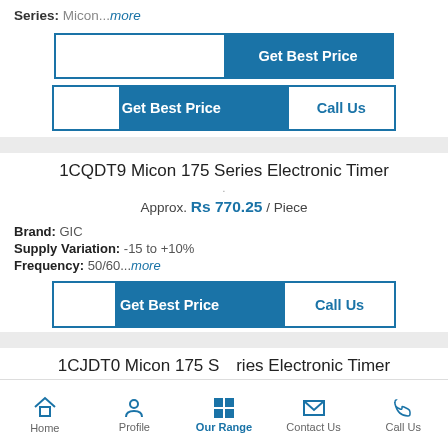Series: Micon...more
[Figure (screenshot): Get Best Price and Call Us buttons for first product]
1CQDT9 Micon 175 Series Electronic Timer
Approx. Rs 770.25 / Piece
Brand: GIC
Supply Variation: -15 to +10%
Frequency: 50/60...more
[Figure (screenshot): Get Best Price and Call Us buttons for second product]
1CJDT0 Micon 175 Series Electronic Timer
Home  Profile  Our Range  Contact Us  Call Us